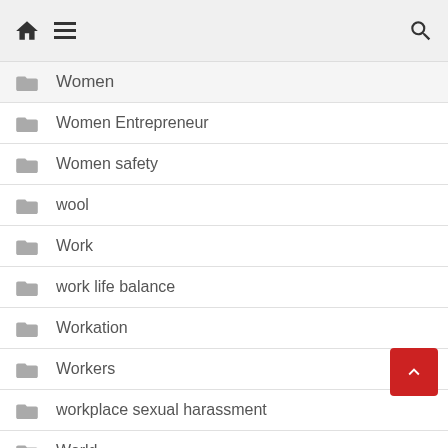Home Menu Search
Women
Women Entrepreneur
Women safety
wool
Work
work life balance
Workation
Workers
workplace sexual harassment
World
World AIDS Day
World Sleep Day